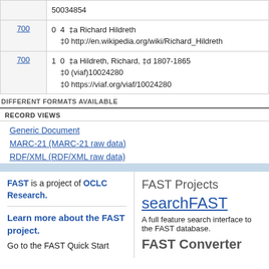| Tag | Data |
| --- | --- |
|  | 50034854 |
| 700 | 0 4 ‡a Richard Hildreth ‡0 http://en.wikipedia.org/wiki/Richard_Hildreth |
| 700 | 1 0 ‡a Hildreth, Richard, ‡d 1807-1865 ‡0 (viaf)10024280 ‡0 https://viaf.org/viaf/10024280 |
DIFFERENT FORMATS AVAILABLE
RECORD VIEWS
Generic Document
MARC-21 (MARC-21 raw data)
RDF/XML (RDF/XML raw data)
FAST is a project of OCLC Research.
Learn more about the FAST project.
Go to the FAST Quick Start
FAST Projects
searchFAST
A full feature search interface to the FAST database.
FAST Converter